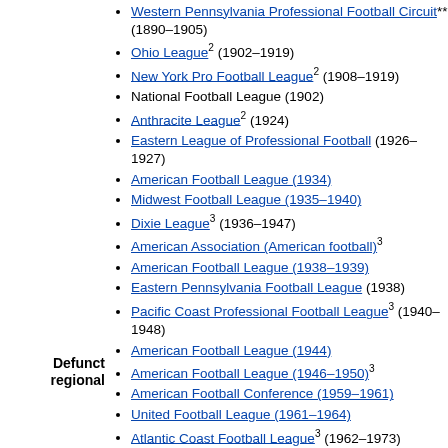Western Pennsylvania Professional Football Circuit** (1890–1905)
Ohio League² (1902–1919)
New York Pro Football League² (1908–1919)
National Football League (1902)
Anthracite League² (1924)
Eastern League of Professional Football (1926–1927)
American Football League (1934)
Midwest Football League (1935–1940)
Dixie League³ (1936–1947)
American Association (American football)³
American Football League (1938–1939)
Eastern Pennsylvania Football League (1938)
Pacific Coast Professional Football League³ (1940–1948)
American Football League (1944)
American Football League (1946–1950)³
American Football Conference (1959–1961)
United Football League (1961–1964)
Atlantic Coast Football League³ (1962–1973)
Midwest Football League (1962–1978)
Professional Football League of America (1965–1967)
Texas Football League (1966–1971)
Defunct regional